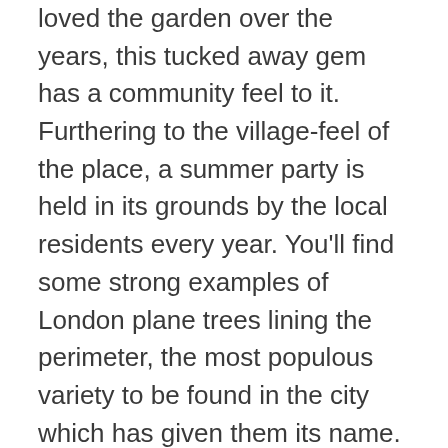loved the garden over the years, this tucked away gem has a community feel to it. Furthering to the village-feel of the place, a summer party is held in its grounds by the local residents every year. You'll find some strong examples of London plane trees lining the perimeter, the most populous variety to be found in the city which has given them its name.
On the corner of the gardens is the Church of the Immaculate Conception. It was built between 1844 and 1849 to a design by one of England's top church architects, Joseph John Scoles. JJ Scoles was known for his gothic